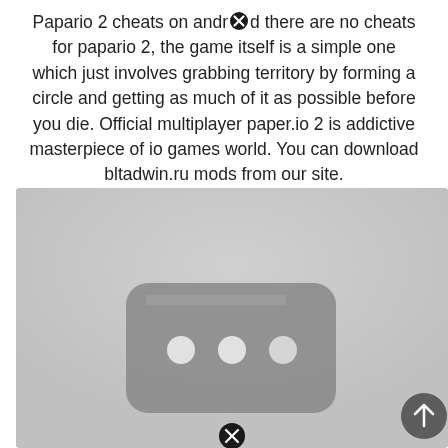Papario 2 cheats on android there are no cheats for papario 2, the game itself is a simple one which just involves grabbing territory by forming a circle and getting as much of it as possible before you die. Official multiplayer paper.io 2 is addictive masterpiece of io games world. You can download bltadwin.ru mods from our site.
[Figure (screenshot): A grayscale screenshot showing a video/media thumbnail-like graphic with a rounded rectangle containing three white circles, on a light gray background. A dark circular scroll-to-top button with an upward arrow is in the bottom-right corner. Two close (X) buttons are visible — one near the top center of the text and one at the bottom center.]